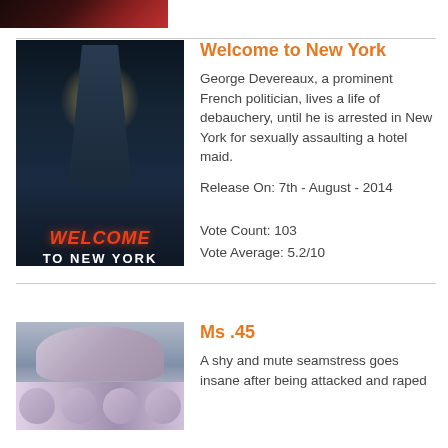[Figure (photo): Top portion of a movie poster, partially visible, dark red tones]
[Figure (photo): Welcome to New York movie poster showing a man in handcuffs from behind with neon red text WELCOME TO NEW YORK]
Welcome to New York
George Devereaux, a prominent French politician, lives a life of debauchery, until he is arrested in New York for sexually assaulting a hotel maid.
Release On: 7th - August - 2014
Vote Count: 103
Vote Average: 5.2/10
[Figure (photo): Ms .45 movie poster showing a woman's face and multiple screaming faces below]
Ms .45
A shy and mute seamstress goes insane after being attacked and raped